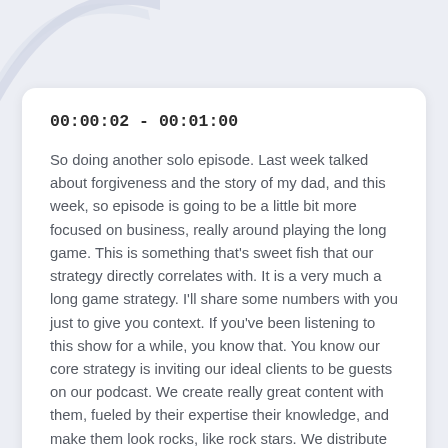00:00:02 - 00:01:00
So doing another solo episode. Last week talked about forgiveness and the story of my dad, and this week, so episode is going to be a little bit more focused on business, really around playing the long game. This is something that's sweet fish that our strategy directly correlates with. It is a very much a long game strategy. I'll share some numbers with you just to give you context. If you've been listening to this show for a while, you know that. You know our core strategy is inviting our ideal clients to be guests on our podcast. We create really great content with them, fueled by their expertise their knowledge, and make them look rocks, like rock stars. We distribute that content, but in doing so it in doing that type of content